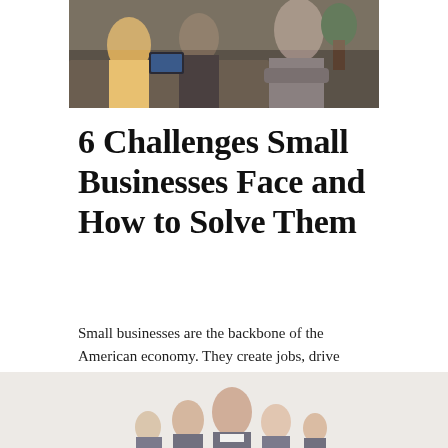[Figure (photo): Cropped photo of people in a meeting or office setting, partially visible at the top of the page]
6 Challenges Small Businesses Face and How to Solve Them
Small businesses are the backbone of the American economy. They create jobs, drive innovation, and help communities thrive. But running a small business is not without its challenges. 1. Access…
Daily Bulletin
[Figure (photo): Cropped photo of a group of business people, partially visible at the bottom of the page]